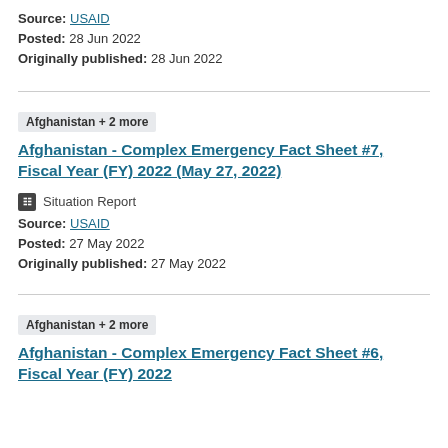Source: USAID
Posted: 28 Jun 2022
Originally published: 28 Jun 2022
Afghanistan + 2 more
Afghanistan - Complex Emergency Fact Sheet #7, Fiscal Year (FY) 2022 (May 27, 2022)
Situation Report
Source: USAID
Posted: 27 May 2022
Originally published: 27 May 2022
Afghanistan + 2 more
Afghanistan - Complex Emergency Fact Sheet #6, Fiscal Year (FY) 2022